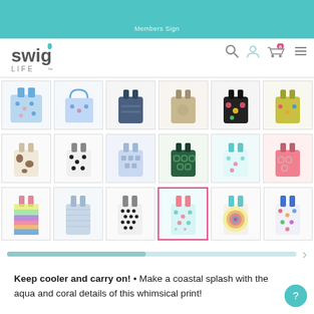[Figure (screenshot): Swig Life website screenshot showing a product page with a grid of colorful patterned backpack cooler bags. The page header shows the Swig Life logo, search icon, account icon, cart with 0 items, and hamburger menu. One bag with aqua and coral print is selected (highlighted with pink border). Below the grid is a scroll bar and product description text.]
Keep cooler and carry on! Make a coastal splash with the aqua and coral details of this whimsical print!